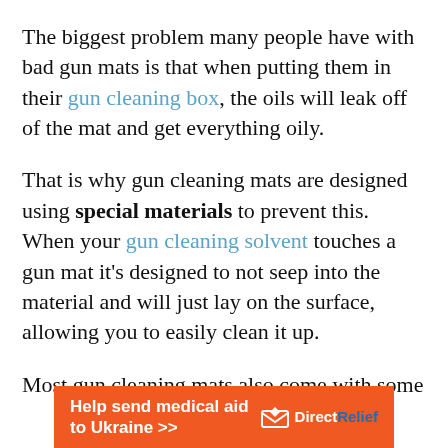The biggest problem many people have with bad gun mats is that when putting them in their gun cleaning box, the oils will leak off of the mat and get everything oily.
That is why gun cleaning mats are designed using special materials to prevent this. When your gun cleaning solvent touches a gun mat it's designed to not seep into the material and will just lay on the surface, allowing you to easily clean it up.
Most gun cleaning mats also come with some
[Figure (infographic): Orange banner advertisement for Direct Relief charity: 'Help send medical aid to Ukraine >>' with Direct Relief logo on the right]